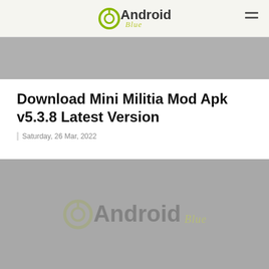Android Blue
[Figure (photo): Gray placeholder image at the top of the article]
Download Mini Militia Mod Apk v5.3.8 Latest Version
Saturday, 26 Mar, 2022
[Figure (photo): Large gray placeholder image with Android Blue watermark logo in the center]